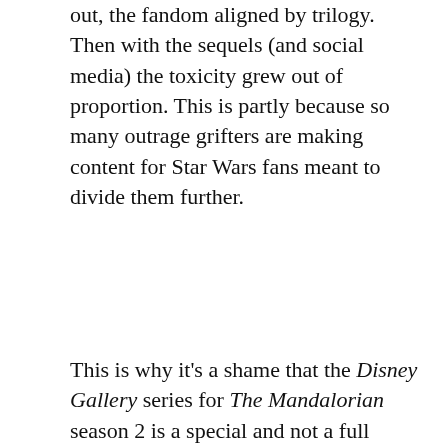out, the fandom aligned by trilogy. Then with the sequels (and social media) the toxicity grew out of proportion. This is partly because so many outrage grifters are making content for Star Wars fans meant to divide them further.
This is why it's a shame that the Disney Gallery series for The Mandalorian season 2 is a special and not a full series. Because all five hours of both seasons feature people talking about how much they love Star Wars.
[Figure (screenshot): Video player screenshot showing a dark gray title bar with white text 'Mario Kart DLC Gold Rush.mp4' and a light gray playback area below with a play button triangle.]